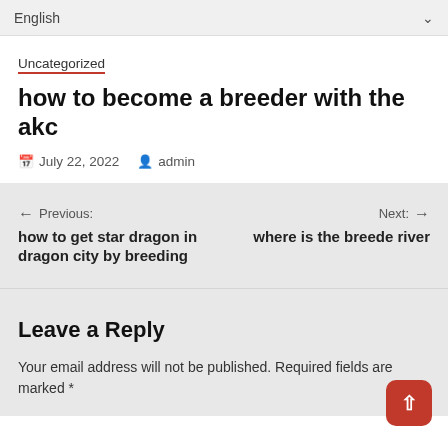English
Uncategorized
how to become a breeder with the akc
July 22, 2022  admin
← Previous: how to get star dragon in dragon city by breeding
Next: → where is the breede river
Leave a Reply
Your email address will not be published. Required fields are marked *